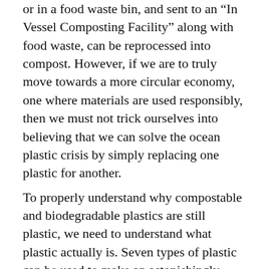or in a food waste bin, and sent to an "In Vessel Composting Facility" along with food waste, can be reprocessed into compost. However, if we are to truly move towards a more circular economy, one where materials are used responsibly, then we must not trick ourselves into believing that we can solve the ocean plastic crisis by simply replacing one plastic for another.
To properly understand why compostable and biodegradable plastics are still plastic, we need to understand what plastic actually is. Seven types of plastic can be used to make an astonishingly wide array of products. All of these plastic types are made from hydrogen and carbon molecules, along with other elements. When enough hydrogen and carbon molecules bond together, the repeating chains form a large molecule known as a polymer. All plastics are made from these polymers mixed together with other additives to create different types of plastic with different chemical properties which determine what the plastic can be used for.
However, although all plastics are created from polymers